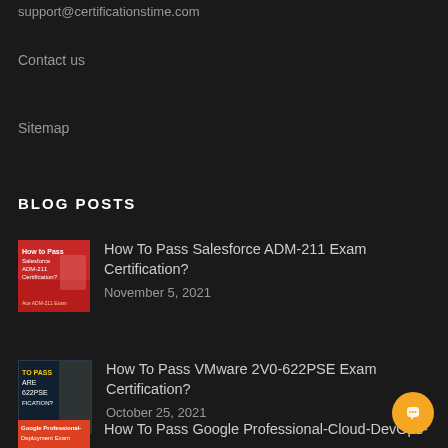support@certificationstime.com
Contact us
Sitemap
BLOG POSTS
[Figure (photo): Thumbnail image for Salesforce ADM-211 exam certification blog post]
How To Pass Salesforce ADM-211 Exam Certification?
November 5, 2021
[Figure (photo): Thumbnail image for VMware 2V0-622PSE exam certification blog post]
How To Pass VMware 2V0-622PSE Exam Certification?
October 25, 2021
[Figure (photo): Thumbnail image for Google Professional-Cloud-DevOps exam certification blog post]
How To Pass Google Professional-Cloud-DevOps-